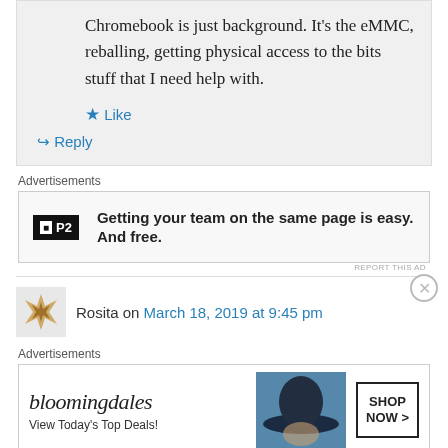Chromebook is just background. It's the eMMC, reballing, getting physical access to the bits stuff that I need help with.
Like
Reply
Advertisements
[Figure (other): P2 advertisement: Getting your team on the same page is easy. And free.]
REPORT THIS AD
Rosita on March 18, 2019 at 9:45 pm
Advertisements
[Figure (other): Bloomingdales advertisement: View Today's Top Deals! SHOP NOW >]